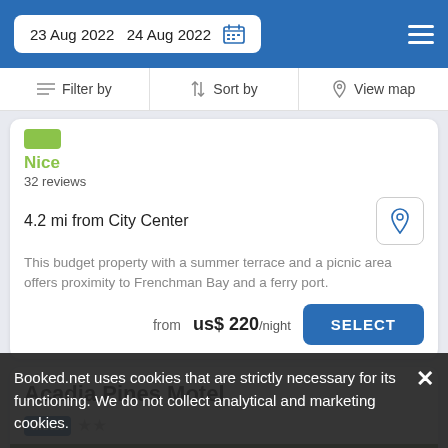23 Aug 2022  24 Aug 2022
Filter by  Sort by  View map
Nice
32 reviews
4.2 mi from City Center
This budget property with a summer terrace and a picnic area offers proximity to Frenchman Bay and a ferry port.
from us$ 220/night
Acadia Pines Motel
Motel ★★
Booked.net uses cookies that are strictly necessary for its functioning. We do not collect analytical and marketing cookies.